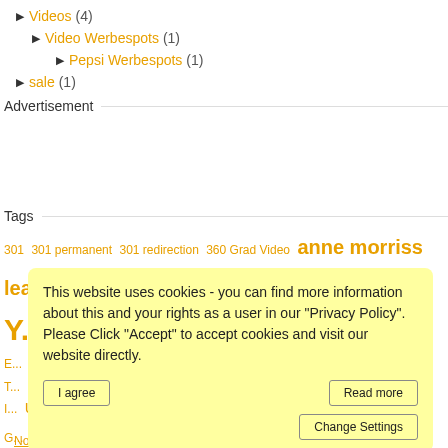▶ Videos (4)
▶ Video Werbespots (1)
▶ Pepsi Werbespots (1)
▶ sale (1)
Advertisement
Tags
301 301 permanent 301 redirection 360 Grad Video anne morriss leadership h... c... crosslinking Did Y... ontent E... Research Future T... endly sites Google I... Universal Search G... ontent How to
This website uses cookies - you can find more information about this and your rights as a user in our "Privacy Policy". Please Click "Accept" to accept cookies and visit our website directly. I agree | Read more | Change Settings